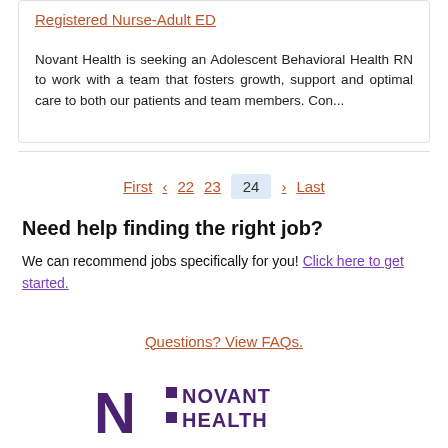Registered Nurse-Adult ED
Novant Health is seeking an Adolescent Behavioral Health RN to work with a team that fosters growth, support and optimal care to both our patients and team members. Con...
First  <  22  23  24  >  Last
Need help finding the right job?
We can recommend jobs specifically for you! Click here to get started.
Questions? View FAQs.
[Figure (logo): Novant Health logo with stylized N and two purple squares followed by NOVANT HEALTH text]
Learn more about Novant Health